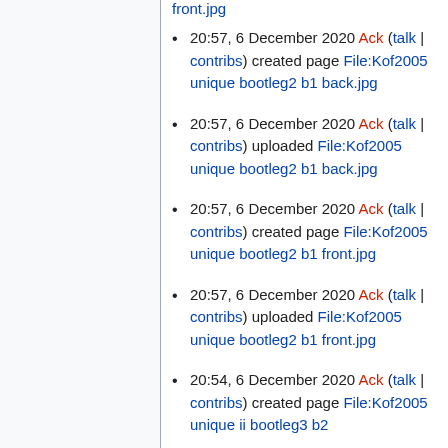front.jpg (link)
20:57, 6 December 2020 Ack (talk | contribs) created page File:Kof2005 unique bootleg2 b1 back.jpg
20:57, 6 December 2020 Ack (talk | contribs) uploaded File:Kof2005 unique bootleg2 b1 back.jpg
20:57, 6 December 2020 Ack (talk | contribs) created page File:Kof2005 unique bootleg2 b1 front.jpg
20:57, 6 December 2020 Ack (talk | contribs) uploaded File:Kof2005 unique bootleg2 b1 front.jpg
20:54, 6 December 2020 Ack (talk | contribs) created page File:Kof2005 unique ii bootleg3 b2